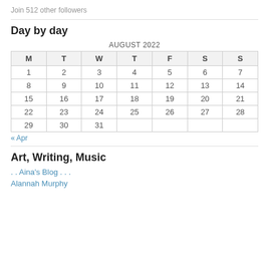Join 512 other followers
Day by day
| M | T | W | T | F | S | S |
| --- | --- | --- | --- | --- | --- | --- |
| 1 | 2 | 3 | 4 | 5 | 6 | 7 |
| 8 | 9 | 10 | 11 | 12 | 13 | 14 |
| 15 | 16 | 17 | 18 | 19 | 20 | 21 |
| 22 | 23 | 24 | 25 | 26 | 27 | 28 |
| 29 | 30 | 31 |  |  |  |  |
« Apr
Art, Writing, Music
. . Aina's Blog . . .
Alannah Murphy